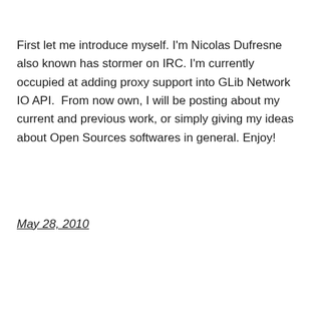First let me introduce myself. I'm Nicolas Dufresne also known has stormer on IRC. I'm currently occupied at adding proxy support into GLib Network IO API.  From now own, I will be posting about my current and previous work, or simply giving my ideas about Open Sources softwares in general. Enjoy!
May 28, 2010